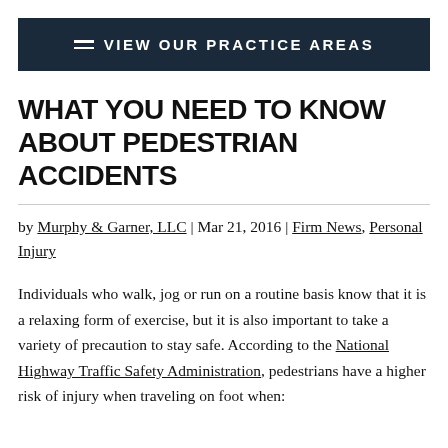VIEW OUR PRACTICE AREAS
WHAT YOU NEED TO KNOW ABOUT PEDESTRIAN ACCIDENTS
by Murphy & Garner, LLC | Mar 21, 2016 | Firm News, Personal Injury
Individuals who walk, jog or run on a routine basis know that it is a relaxing form of exercise, but it is also important to take a variety of precaution to stay safe. According to the National Highway Traffic Safety Administration, pedestrians have a higher risk of injury when traveling on foot when: